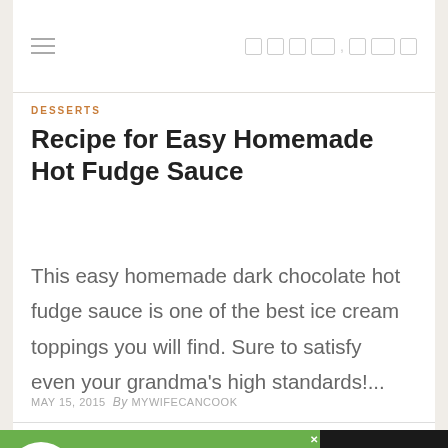DESSERTS
Recipe for Easy Homemade Hot Fudge Sauce
This easy homemade dark chocolate hot fudge sauce is one of the best ice cream toppings you will find. Sure to satisfy even your grandma's high standards!...
MAY 15, 2015  By MYWIFECANCOOK
[Figure (infographic): Advertisement banner for Cookies for Kids Cancer: turn your cookies into a CURE - LEARN HOW]